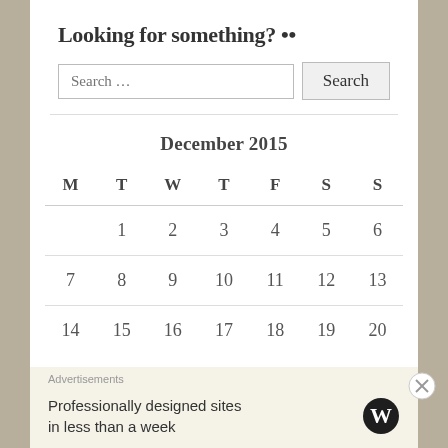Looking for something? ••
[Figure (other): Search input box with placeholder 'Search …' and a Search button]
| M | T | W | T | F | S | S |
| --- | --- | --- | --- | --- | --- | --- |
|  | 1 | 2 | 3 | 4 | 5 | 6 |
| 7 | 8 | 9 | 10 | 11 | 12 | 13 |
| 14 | 15 | 16 | 17 | 18 | 19 | 20 |
Advertisements
Professionally designed sites in less than a week